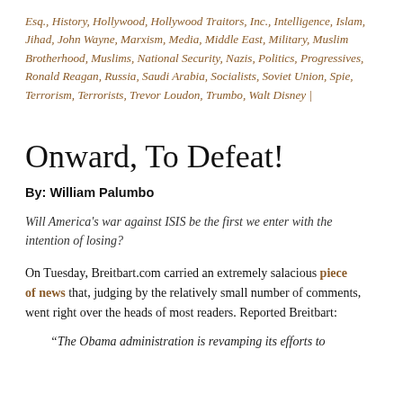Esq., History, Hollywood, Hollywood Traitors, Inc., Intelligence, Islam, Jihad, John Wayne, Marxism, Media, Middle East, Military, Muslim Brotherhood, Muslims, National Security, Nazis, Politics, Progressives, Ronald Reagan, Russia, Saudi Arabia, Socialists, Soviet Union, Spie, Terrorism, Terrorists, Trevor Loudon, Trumbo, Walt Disney |
Onward, To Defeat!
By: William Palumbo
Will America's war against ISIS be the first we enter with the intention of losing?
On Tuesday, Breitbart.com carried an extremely salacious piece of news that, judging by the relatively small number of comments, went right over the heads of most readers. Reported Breitbart:
“The Obama administration is revamping its efforts to